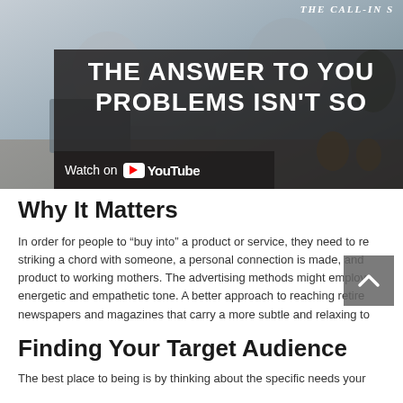[Figure (screenshot): YouTube video thumbnail showing two women at desk with text overlay 'THE ANSWER TO YOUR PROBLEMS ISN'T SO...' on dark background, with 'Watch on YouTube' bar and 'THE CALL-IN S' show label in top right]
Why It Matters
In order for people to “buy into” a product or service, they need to re... striking a chord with someone, a personal connection is made, and ... product to working mothers. The advertising methods might employ ... energetic and empathetic tone. A better approach to reaching retire... newspapers and magazines that carry a more subtle and relaxing to...
Finding Your Target Audience
The best place to being is by thinking about the specific needs your...